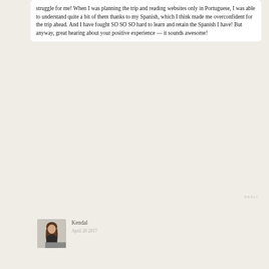struggle for me! When I was planning the trip and reading websites only in Portuguese, I was able to understand quite a bit of them thanks to my Spanish, which I think made me overconfident for the trip ahead. And I have fought SO SO SO hard to learn and retain the Spanish I have! But anyway, great hearing about your positive experience — it sounds awesome!
REPLY
[Figure (photo): Profile photo of a young woman with long hair, sitting on steps, wearing dark clothing]
Kendal
April 20 2017